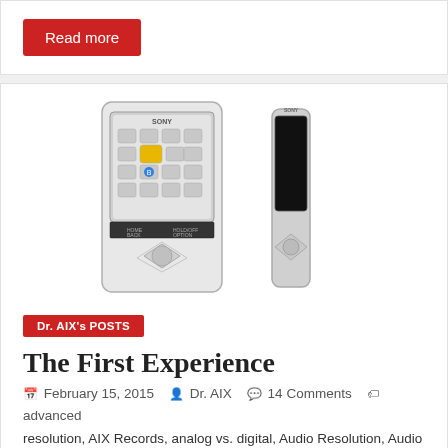Read more
[Figure (photo): Two views of a Sony portable media player — front view showing the screen with menu icons and a diamond-pattern navigation pad, and side/back view showing the slim profile, both in silver/chrome finish.]
Dr. AIX's POSTS
The First Experience
February 15, 2015  Dr. AIX  14 Comments  advanced resolution, AIX Records, analog vs. digital, Audio Resolution, Audio Specifications, Audiophile Mastering, Blue Coast Records, CD,